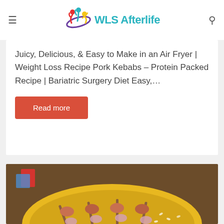WLS Afterlife
Juicy, Delicious, & Easy to Make in an Air Fryer | Weight Loss Recipe Pork Kebabs – Protein Packed Recipe | Bariatric Surgery Diet Easy,...
Read more
[Figure (photo): Food photo showing kebabs on a yellow plate with onions and garnish]